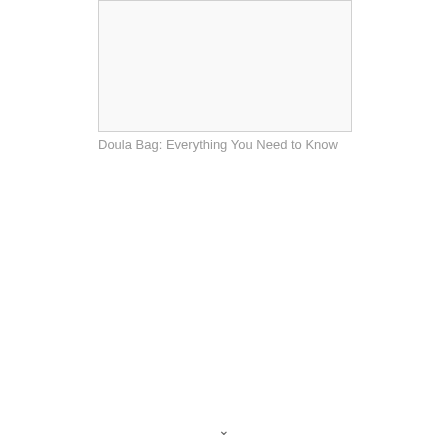[Figure (photo): Image placeholder box for doula bag article thumbnail]
Doula Bag: Everything You Need to Know